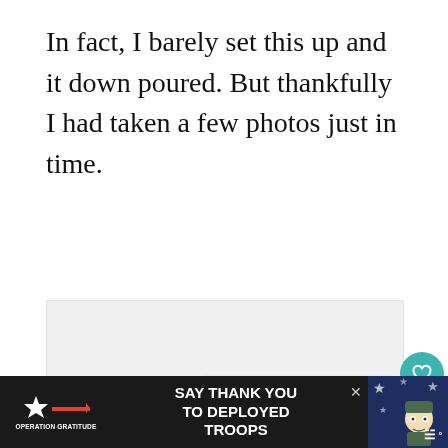In fact, I barely set this up and it down poured. But thankfully I had taken a few photos just in time.
[Figure (photo): Light gray placeholder area for an image, with three small dots at the bottom center indicating a slideshow or carousel. A teal heart/like button and a white share button are overlaid on the right side.]
[Figure (infographic): A 'What's Next' card in the bottom right with a thumbnail image and label 'WHAT'S NEXT → Pretty Summer...']
[Figure (infographic): Advertisement bar at the bottom: dark background with Operation Gratitude logo and red arrow on the left, bold white text 'SAY THANK YOU TO DEPLOYED TROOPS' in the center, and a cartoon soldier graphic on the right with a close button and weather widget.]